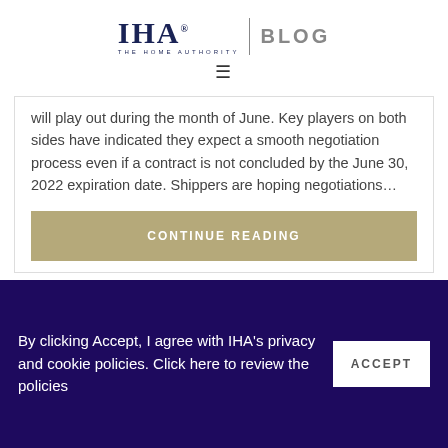IHA. BLOG | THE HOME AUTHORITY
will play out during the month of June. Key players on both sides have indicated they expect a smooth negotiation process even if a contract is not concluded by the June 30, 2022 expiration date. Shippers are hoping negotiations…
CONTINUE READING
By clicking Accept, I agree with IHA's privacy and cookie policies. Click here to review the policies